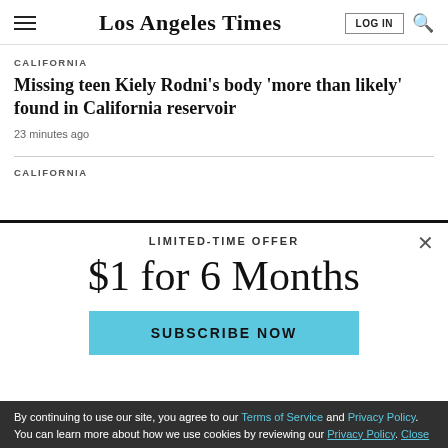Los Angeles Times
CALIFORNIA
Missing teen Kiely Rodni's body 'more than likely' found in California reservoir
23 minutes ago
CALIFORNIA
LIMITED-TIME OFFER
$1 for 6 Months
SUBSCRIBE NOW
By continuing to use our site, you agree to our Terms of Service and Privacy Policy. You can learn more about how we use cookies by reviewing our Privacy Policy. Close